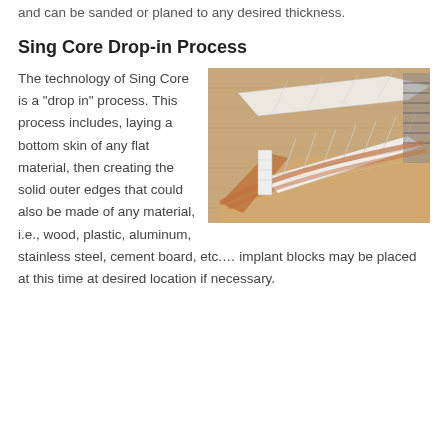and can be sanded or planed to any desired thickness.
Sing Core Drop-in Process
[Figure (photo): Photo of Sing Core panels being assembled in a drop-in process, showing white foam core blocks arranged in a curved pattern on a wooden board/jig, with additional foam panels visible in the background.]
The technology of Sing Core is a “drop in” process. This process includes, laying a bottom skin of any flat material, then creating the solid outer edges that could also be made of any material, i.e., wood, plastic, aluminum, stainless steel, cement board, etc.… implant blocks may be placed at this time at desired location if necessary.